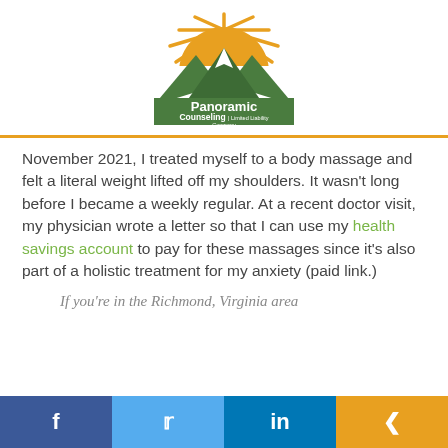[Figure (logo): Panoramic Counseling LLC logo with sun rays, orange sun arc, green mountain peaks, and text 'Panoramic Counseling | Limited Liability Company']
November 2021, I treated myself to a body massage and felt a literal weight lifted off my shoulders. It wasn't long before I became a weekly regular. At a recent doctor visit, my physician wrote a letter so that I can use my health savings account to pay for these massages since it's also part of a holistic treatment for my anxiety (paid link.)
If you're in the Richmond, Virginia area
[Figure (other): Social media share bar with Facebook, Twitter, LinkedIn, and share buttons]